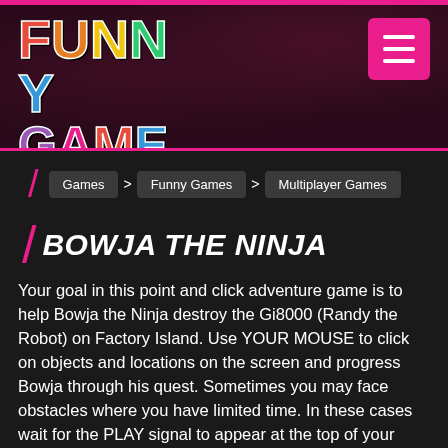[Figure (logo): Funny Games colorful logo with multicolored letters on dark background]
Games > Funny Games > Multiplayer Games
BOWJA THE NINJA
Your goal in this point and click adventure game is to help Bowja the Ninja destroy the Gi8000 (Randy the Robot) on Factory Island. Use YOUR MOUSE to click on objects and locations on the screen and progress Bowja through his quest. Sometimes you may face obstacles where you have limited time. In these cases wait for the PLAY signal to appear at the top of your screen to have your turn. Have fun!